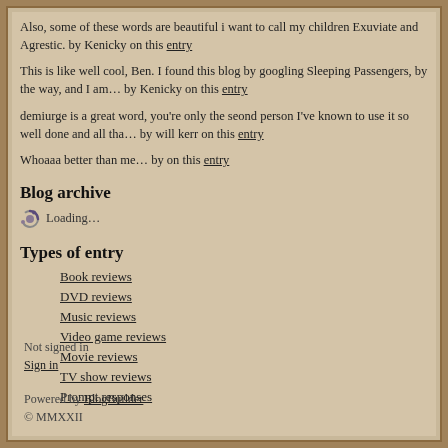Also, some of these words are beautiful i want to call my children Exuviate and Agrestic. by Kenicky on this entry
This is like well cool, Ben. I found this blog by googling Sleeping Passengers, by the way, and I am… by Kenicky on this entry
demiurge is a great word, you're only the seond person I've known to use it so well done and all tha… by will kerr on this entry
Whoaaa better than me… by on this entry
Blog archive
Loading…
Types of entry
Book reviews
DVD reviews
Music reviews
Video game reviews
Movie reviews
TV show reviews
Prompt responses
Not signed in
Sign in
Powered by BlogBuilder © MMXXII